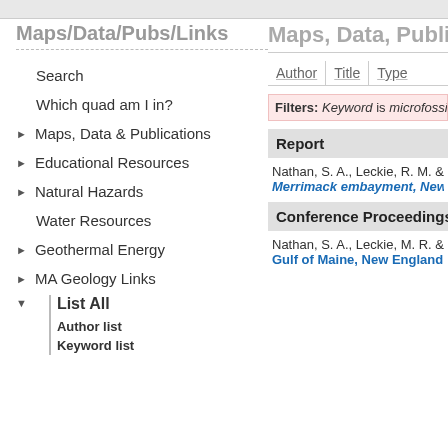Maps/Data/Pubs/Links
Search
Which quad am I in?
▶ Maps, Data & Publications
▶ Educational Resources
▶ Natural Hazards
Water Resources
▶ Geothermal Energy
▶ MA Geology Links
▼ List All
Author list
Keyword list
Most popular
Preliminary Bedrock Geologic Map of the Hudson 7.5' Quadrangle,
Maps, Data, Publication
Author | Title | Type
Filters: Keyword is microfossils  [C
Report
Nathan, S. A., Leckie, R. M. & Mab
Merrimack embayment, New Eng
Conference Proceedings
Nathan, S. A., Leckie, M. R. & Mab
Gulf of Maine, New England. Abs